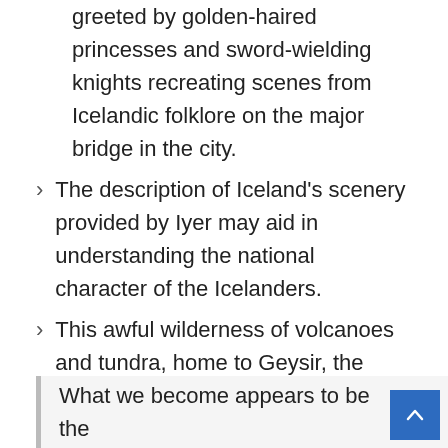greeted by golden-haired princesses and sword-wielding knights recreating scenes from Icelandic folklore on the major bridge in the city.
The description of Iceland's scenery provided by Iyer may aid in understanding the national character of the Icelanders.
This awful wilderness of volcanoes and tundra, home to Geysir, the mother of geysers, is a country so lunar that NASA astronauts trained there during their time on the International Space Station.
What we become appears to be the